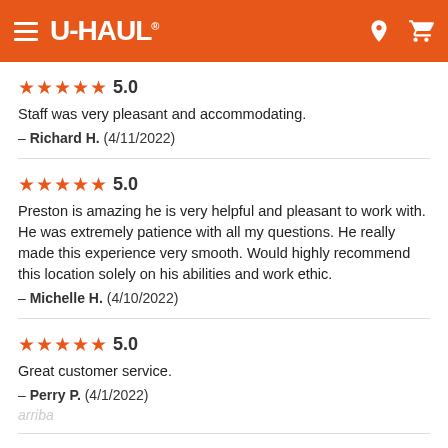U-HAUL
★★★★★ 5.0
Staff was very pleasant and accommodating.
— Richard H. (4/11/2022)
★★★★★ 5.0
Preston is amazing he is very helpful and pleasant to work with. He was extremely patience with all my questions. He really made this experience very smooth. Would highly recommend this location solely on his abilities and work ethic.
— Michelle H. (4/10/2022)
★★★★★ 5.0
Great customer service.
— Perry P. (4/1/2022)